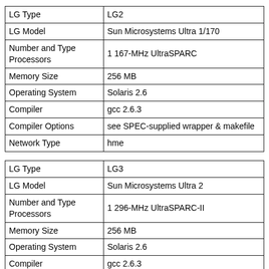| LG Type | LG2 |
| LG Model | Sun Microsystems Ultra 1/170 |
| Number and Type Processors | 1 167-MHz UltraSPARC |
| Memory Size | 256 MB |
| Operating System | Solaris 2.6 |
| Compiler | gcc 2.6.3 |
| Compiler Options | see SPEC-supplied wrapper & makefile |
| Network Type | hme |
| LG Type | LG3 |
| LG Model | Sun Microsystems Ultra 2 |
| Number and Type Processors | 1 296-MHz UltraSPARC-II |
| Memory Size | 256 MB |
| Operating System | Solaris 2.6 |
| Compiler | gcc 2.6.3 |
| Compiler Options | see SPEC-supplied wrapper & |